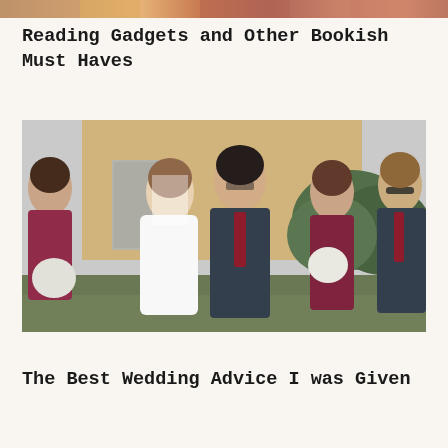[Figure (photo): Colorful image strip at the top of the page, appears to be a cropped photo with warm tones.]
Reading Gadgets and Other Bookish Must Haves
[Figure (photo): Wedding party photo showing a bride in a white dress and groom in a dark suit with a red tie, flanked by bridesmaids in burgundy dresses and a groomsman in a dark suit, walking outdoors near a tan brick building.]
The Best Wedding Advice I was Given